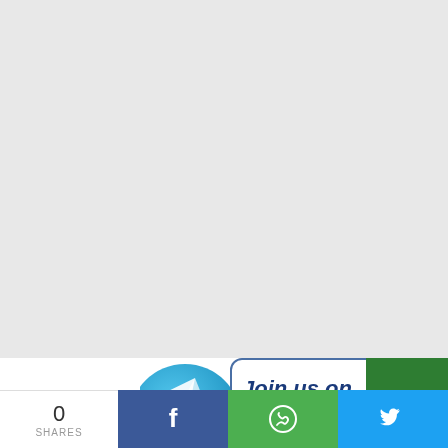[Figure (illustration): Large grey background area taking up most of the page, with a partial Telegram banner visible at the bottom showing a Telegram logo (blue circle with paper plane), 'Join us on' text, and a green rectangle on the right side.]
Join us on
[Figure (infographic): Social share bar at the bottom: count of 0 SHARES on the left, then Facebook (blue), WhatsApp (green), and Twitter (light blue) share buttons with their respective icons.]
0
SHARES